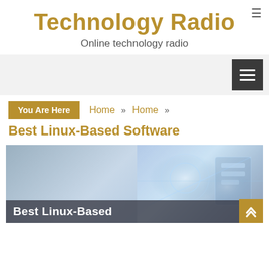Technology Radio
Online technology radio
Navigation menu bar
You Are Here  Home »  Home »  Best Linux-Based Software
Best Linux-Based Software
[Figure (photo): Article header image showing a person in a suit on the left and a technology/digital background on the right, with overlay text 'Best Linux-Based' at the bottom]